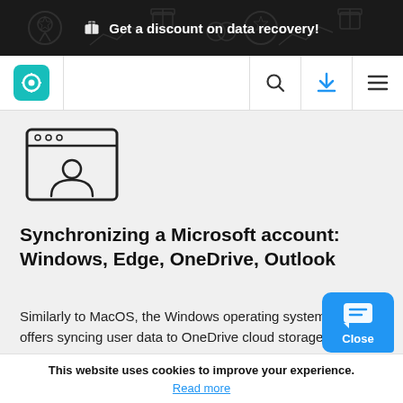🎁 Get a discount on data recovery!
[Figure (logo): Website navigation bar with teal settings icon logo, search icon, blue download icon, and hamburger menu]
[Figure (illustration): Browser window icon with user/account silhouette inside]
Synchronizing a Microsoft account: Windows, Edge, OneDrive, Outlook
Similarly to MacOS, the Windows operating system also offers syncing user data to OneDrive cloud storage. By default, OneDrive saves the follow er
This website uses cookies to improve your experience.
Read more